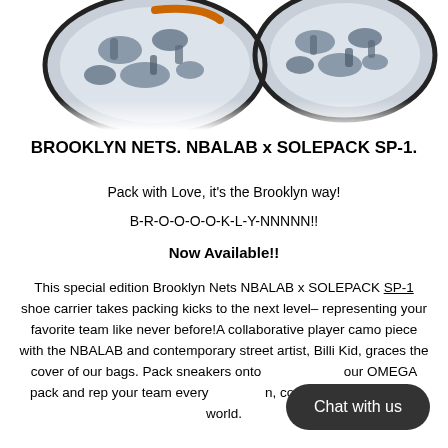[Figure (photo): Product photo showing Brooklyn Nets camo-patterned shoe carrier/bag with SOLEPACK branding, partially cropped at top of page]
BROOKLYN NETS. NBALAB x SOLEPACK SP-1.
Pack with Love, it's the Brooklyn way!
B-R-O-O-O-O-K-L-Y-NNNNN!!
Now Available!!
This special edition Brooklyn Nets NBALAB x SOLEPACK SP-1 shoe carrier takes packing kicks to the next level– representing your favorite team like never before!A collaborative player camo piece with the NBALAB and contemporary street artist, Billi Kid, graces the cover of our bags. Pack sneakers onto our OMEGA pack and rep your team everywhere, courts or fly around the world.